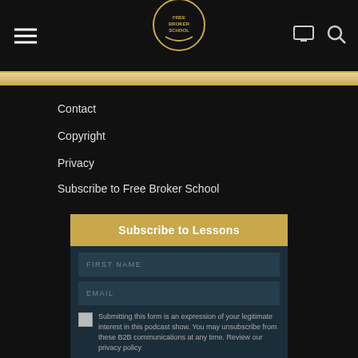Free Broker School navigation bar with hamburger menu, logo, monitor icon, and search icon
Contact
Copyright
Privacy
Subscribe to Free Broker School
[Figure (screenshot): Subscribe to Lessons form with FIRST NAME field, EMAIL field, and a checkbox with text: Submitting this form is an expression of your legitimate interest in this podcast show. You may unsubscribe from these B2B communications at any time. Review our privacy policy]